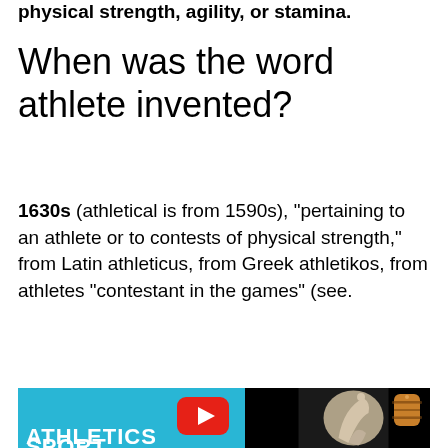physical strength, agility, or stamina.
When was the word athlete invented?
1630s (athletical is from 1590s), “pertaining to an athlete or to contests of physical strength,” from Latin athleticus, from Greek athletikos, from athletes “contestant in the games” (see.
[Figure (screenshot): YouTube video thumbnail for 'Athletics Sport' by Ancient Greek Society channel, showing a discus thrower statue on a teal/black background with a YouTube play button in the center and 'ATHLETICS SPORT' text at the bottom.]